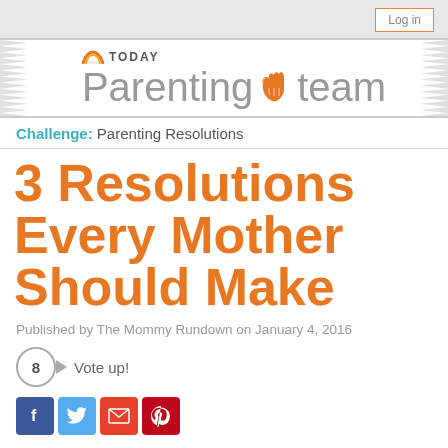[Figure (logo): TODAY Parenting Team banner logo with orange hand icon]
Challenge: Parenting Resolutions
3 Resolutions Every Mother Should Make
Published by The Mommy Rundown on January 4, 2016
8  Vote up!
[Figure (other): Social sharing icons: Facebook, Twitter, Email, Pinterest]